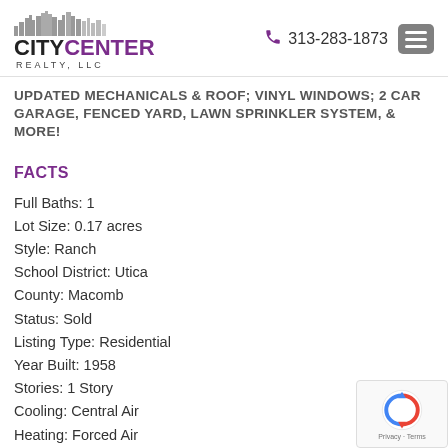City Center Realty, LLC — 313-283-1873
UPDATED MECHANICALS & ROOF; VINYL WINDOWS; 2 CAR GARAGE, FENCED YARD, LAWN SPRINKLER SYSTEM, & MORE!
FACTS
Full Baths: 1
Lot Size: 0.17 acres
Style: Ranch
School District: Utica
County: Macomb
Status: Sold
Listing Type: Residential
Year Built: 1958
Stories: 1 Story
Cooling: Central Air
Heating: Forced Air